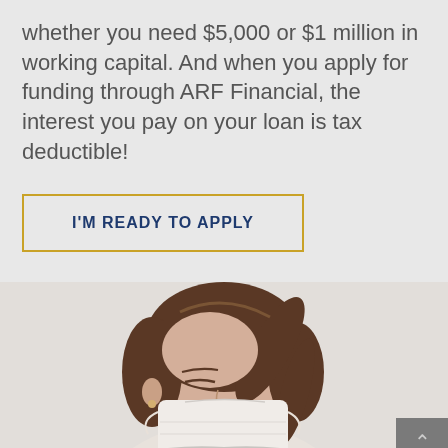whether you need $5,000 or $1 million in working capital. And when you apply for funding through ARF Financial, the interest you pay on your loan is tax deductible!
I'M READY TO APPLY
[Figure (photo): A woman with brown hair in a ponytail, wearing a white face mask, looking downward. Light background.]